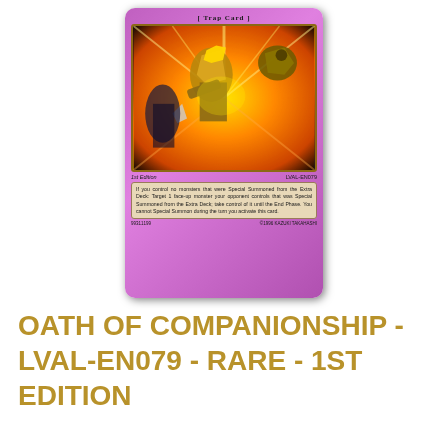[Figure (illustration): Yu-Gi-Oh! Trap Card 'Oath of Companionship' - LVAL-EN079 - Rare - 1st Edition. Pink/purple bordered card with artwork showing armored warrior figures in battle with orange/yellow energy background. Card text describes a trap effect targeting opponent's Extra Deck monsters.]
OATH OF COMPANIONSHIP - LVAL-EN079 - RARE - 1ST EDITION